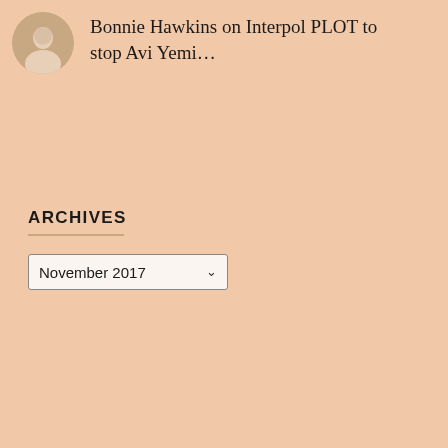[Figure (illustration): Circular avatar photo of a person in light-colored clothing]
Bonnie Hawkins on Interpol PLOT to stop Avi Yemi…
ARCHIVES
November 2017